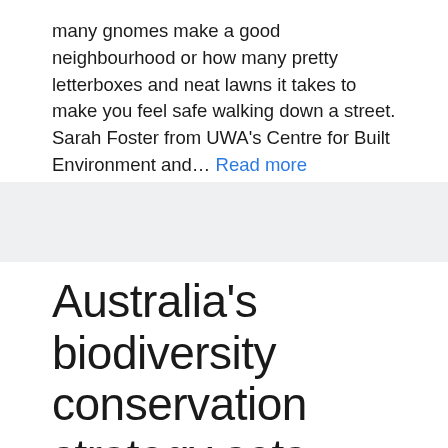many gnomes make a good neighbourhood or how many pretty letterboxes and neat lawns it takes to make you feel safe walking down a street. Sarah Foster from UWA's Centre for Built Environment and… Read more
Australia's biodiversity conservation strategy sets